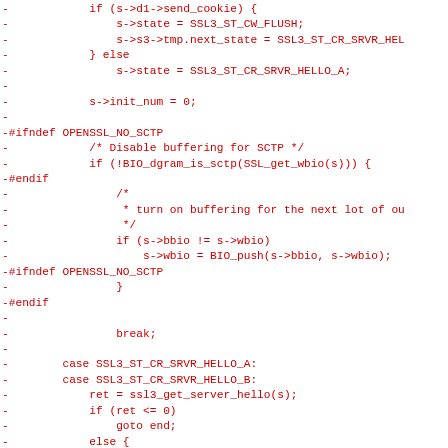Diff/patch code showing removed lines (prefixed with -) from an OpenSSL SSL3 handshake state machine, including SCTP buffering logic and SSL3_ST_CR_SRVR_HELLO state handling.